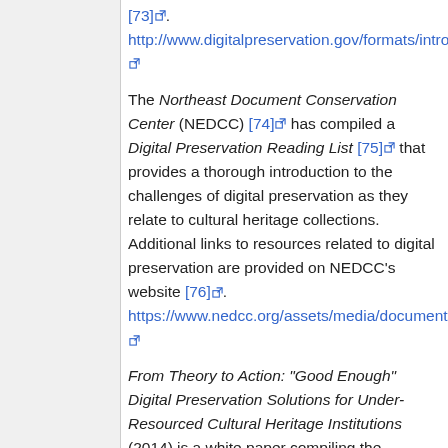[73]. http://www.digitalpreservation.gov/formats/intro/intro.shtml
The Northeast Document Conservation Center (NEDCC) [74] has compiled a Digital Preservation Reading List [75] that provides a thorough introduction to the challenges of digital preservation as they relate to cultural heritage collections. Additional links to resources related to digital preservation are provided on NEDCC’s website [76]. https://www.nedcc.org/assets/media/documents/DigiPres_Biblio_Digital_Directions_2014_update.pdf
From Theory to Action: “Good Enough” Digital Preservation Solutions for Under-Resourced Cultural Heritage Institutions (2014) is a white paper compiling the